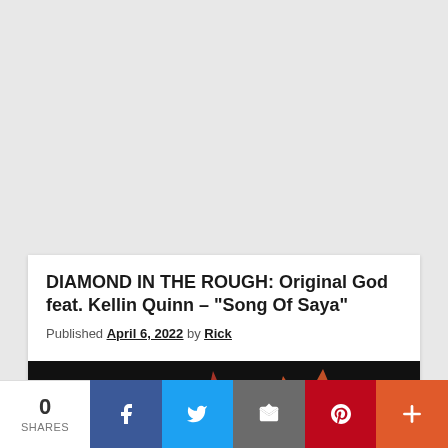DIAMOND IN THE ROUGH: Original God feat. Kellin Quinn – "Song Of Saya"
Published April 6, 2022 by Rick
[Figure (photo): Dark background with red/orange abstract shapes suggesting a fox or similar figure, article thumbnail image]
0 SHARES